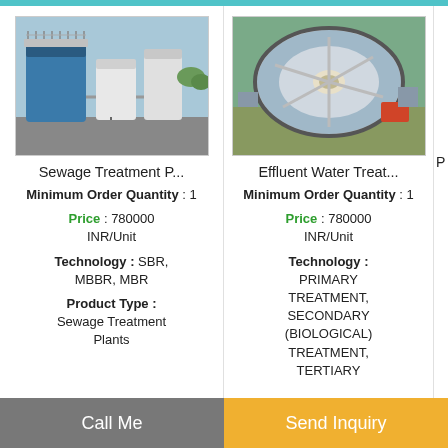[Figure (photo): Industrial sewage treatment plant with blue tanks and filtration equipment]
Sewage Treatment P...
Minimum Order Quantity : 1
Price : 780000 INR/Unit
Technology : SBR, MBBR, MBR
Product Type : Sewage Treatment Plants
[Figure (photo): Aerial view of circular effluent water treatment facility]
Effluent Water Treat...
Minimum Order Quantity : 1
Price : 780000 INR/Unit
Technology : PRIMARY TREATMENT, SECONDARY (BIOLOGICAL) TREATMENT, TERTIARY
Call Me
Send Inquiry